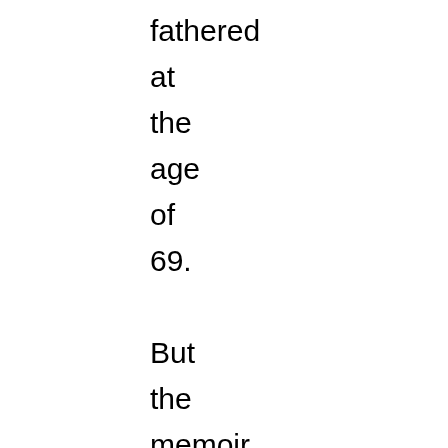fathered at the age of 69. But the memoir is much more than an entertaining romp through Parisian literary bohemia at the